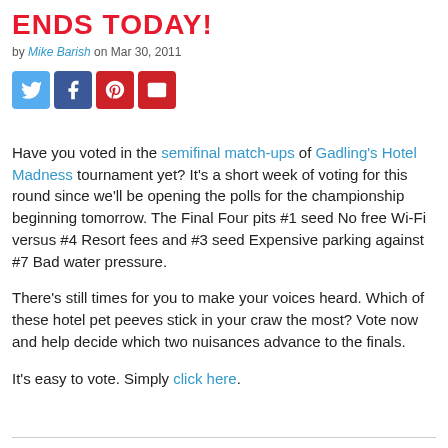ENDS TODAY!
by Mike Barish on Mar 30, 2011
[Figure (other): Social sharing icons: Twitter (blue), Facebook (dark blue), Pinterest (red), Email (red)]
Have you voted in the semifinal match-ups of Gadling's Hotel Madness tournament yet? It's a short week of voting for this round since we'll be opening the polls for the championship beginning tomorrow. The Final Four pits #1 seed No free Wi-Fi versus #4 Resort fees and #3 seed Expensive parking against #7 Bad water pressure.
There's still times for you to make your voices heard. Which of these hotel pet peeves stick in your craw the most? Vote now and help decide which two nuisances advance to the finals.
It's easy to vote. Simply click here.